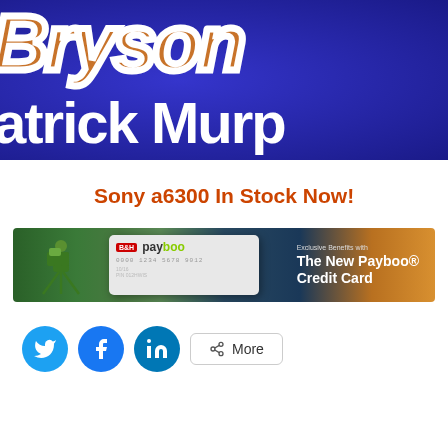[Figure (photo): Close-up photo of graffiti/lettering art on blue background showing 'Bryson' in orange/brown decorative letters with white stroke, and 'atrick Murp' (partial text of 'Patrick Murphy') in large white bold letters below]
Sony a6300 In Stock Now!
[Figure (photo): Banner advertisement for B&H Payboo Credit Card showing a photographer on a hillside at sunset with a credit card image and text 'The New Payboo Credit Card' with 'Exclusive Benefits with' above]
Twitter share button
Facebook share button
LinkedIn share button
More share button